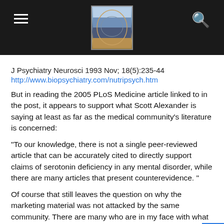[Figure (logo): Website header with dark background, hamburger menu icon on left, brain/head illustration logo in center, search icon on right]
J Psychiatry Neurosci 1993 Nov; 18(5):235-44
http://www.biopsychiatry.com/nutripsych.htm
But in reading the 2005 PLoS Medicine article linked to in the post, it appears to support what Scott Alexander is saying at least as far as the medical community's literature is concerned:
"To our knowledge, there is not a single peer-reviewed article that can be accurately cited to directly support claims of serotonin deficiency in any mental disorder, while there are many articles that present counterevidence. "
Of course that still leaves the question on why the marketing material was not attacked by the same community. There are many who are in my face with what "science says" and who wi mock those who question it, but here it was given a pass. I can